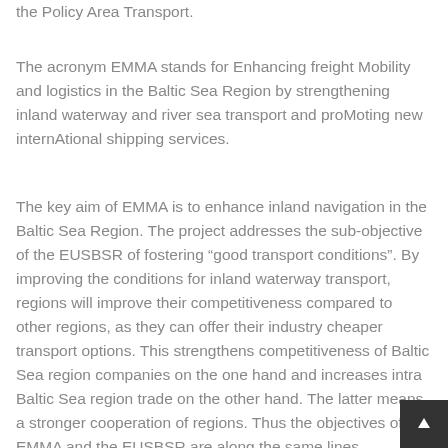the Policy Area Transport.
The acronym EMMA stands for Enhancing freight Mobility and logistics in the Baltic Sea Region by strengthening inland waterway and river sea transport and proMoting new internAtional shipping services.
The key aim of EMMA is to enhance inland navigation in the Baltic Sea Region. The project addresses the sub-objective of the EUSBSR of fostering “good transport conditions”. By improving the conditions for inland waterway transport, regions will improve their competitiveness compared to other regions, as they can offer their industry cheaper transport options. This strengthens competitiveness of Baltic Sea region companies on the one hand and increases intra Baltic Sea region trade on the other hand. The latter means a stronger cooperation of regions. Thus the objectives of EMMA and the EUSBSR are along the same lines.